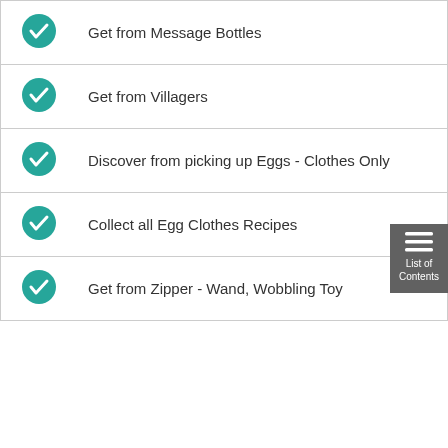Get from Message Bottles
Get from Villagers
Discover from picking up Eggs - Clothes Only
Collect all Egg Clothes Recipes
Get from Zipper - Wand, Wobbling Toy